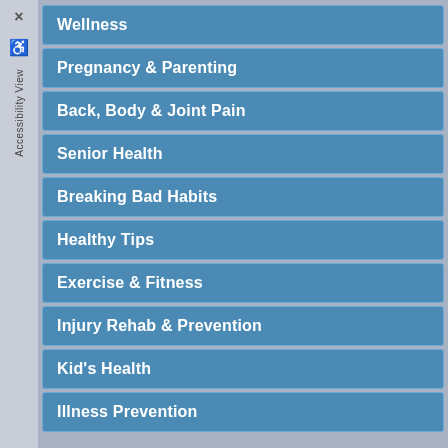Wellness
Pregnancy & Parenting
Back, Body & Joint Pain
Senior Health
Breaking Bad Habits
Healthy Tips
Exercise & Fitness
Injury Rehab & Prevention
Kid's Health
Illness Prevention